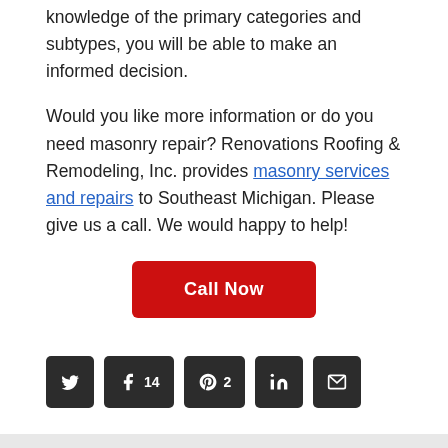knowledge of the primary categories and subtypes, you will be able to make an informed decision.
Would you like more information or do you need masonry repair? Renovations Roofing & Remodeling, Inc. provides masonry services and repairs to Southeast Michigan. Please give us a call. We would happy to help!
Call Now
Twitter Facebook 14 Pinterest 2 LinkedIn Email